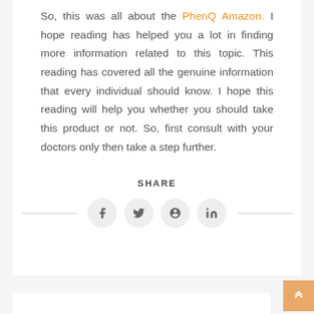So, this was all about the PhenQ Amazon. I hope reading has helped you a lot in finding more information related to this topic. This reading has covered all the genuine information that every individual should know. I hope this reading will help you whether you should take this product or not. So, first consult with your doctors only then take a step further.
SHARE